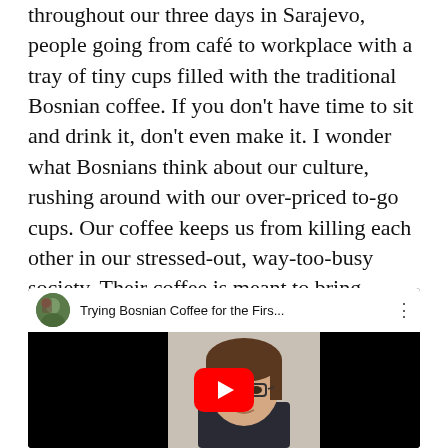throughout our three days in Sarajevo, people going from café to workplace with a tray of tiny cups filled with the traditional Bosnian coffee.  If you don't have time to sit and drink it, don't even make it.  I wonder what Bosnians think about our culture, rushing around with our over-priced to-go cups.  Our coffee keeps us from killing each other in our stressed-out, way-too-busy society.  Their coffee is meant to bring people together, to facilitate conversation and to create a happy, mental space.
[Figure (screenshot): YouTube video embed showing a woman with glasses and dark hair, video title 'Trying Bosnian Coffee for the Firs...' with a red YouTube play button overlay]